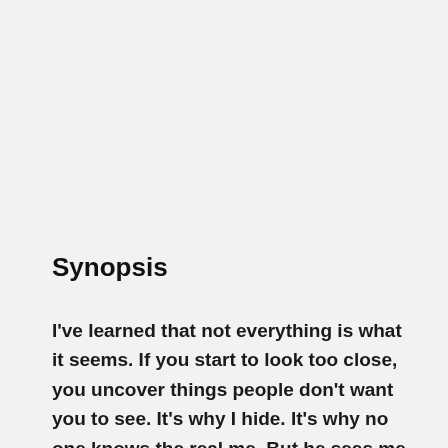Synopsis
I've learned that not everything is what it seems. If you start to look too close, you uncover things people don't want you to see. It's why I hide. It's why no one knows the real me. But he sees me. He sees the darkness in my heart but he's not afraid, because he's like me. They say opposites attract, but we're proof that like-and-like are a